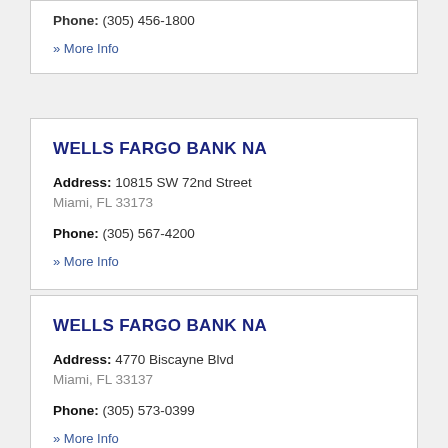Phone: (305) 456-1800
» More Info
WELLS FARGO BANK NA
Address: 10815 SW 72nd Street Miami, FL 33173
Phone: (305) 567-4200
» More Info
WELLS FARGO BANK NA
Address: 4770 Biscayne Blvd Miami, FL 33137
Phone: (305) 573-0399
» More Info